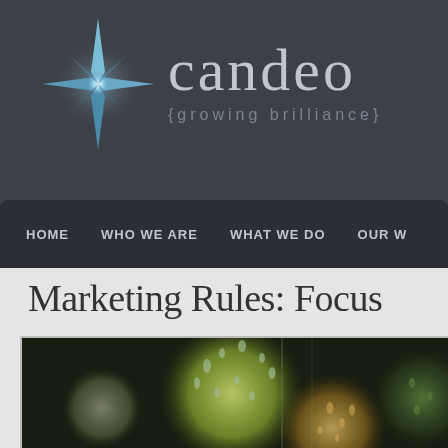[Figure (logo): Candeo logo with blue 4-pointed star and brand name 'candeo' with tagline '{growing brilliance}' on dark gray background]
HOME    WHO WE ARE    WHAT WE DO    OUR W
Marketing Rules: Focus
[Figure (photo): Bokeh photograph showing colorful out-of-focus light circles (green, orange, white) with water droplets on dark background]